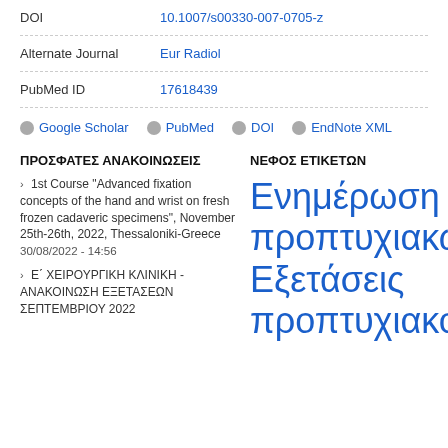| DOI | 10.1007/s00330-007-0705-z |
| Alternate Journal | Eur Radiol |
| PubMed ID | 17618439 |
Google Scholar  PubMed  DOI  EndNote XML
ΠΡΟΣΦΑΤΕΣ ΑΝΑΚΟΙΝΩΣΕΙΣ
ΝΕΦΟΣ ΕΤΙΚΕΤΩΝ
1st Course "Advanced fixation concepts of the hand and wrist on fresh frozen cadaveric specimens", November 25th-26th, 2022, Thessaloniki-Greece
30/08/2022 - 14:56
Ε΄ ΧΕΙΡΟΥΡΓΙΚΗ ΚΛΙΝΙΚΗ - ΑΝΑΚΟΙΝΩΣΗ ΕΞΕΤΑΣΕΩΝ ΣΕΠΤΕΜΒΡΙΟΥ 2022
Ενημέρωση προπτυχιακών Εξετάσεις προπτυχιακού